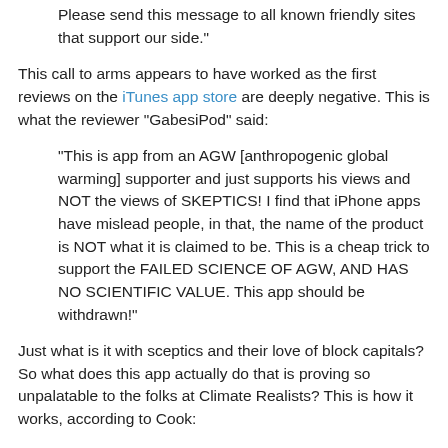Please send this message to all known friendly sites that support our side."
This call to arms appears to have worked as the first reviews on the iTunes app store are deeply negative. This is what the reviewer "GabesiPod" said:
"This is app from an AGW [anthropogenic global warming] supporter and just supports his views and NOT the views of SKEPTICS! I find that iPhone apps have mislead people, in that, the name of the product is NOT what it is claimed to be. This is a cheap trick to support the FAILED SCIENCE OF AGW, AND HAS NO SCIENTIFIC VALUE. This app should be withdrawn!"
Just what is it with sceptics and their love of block capitals? So what does this app actually do that is proving so unpalatable to the folks at Climate Realists? This is how it works, according to Cook:
"You browse arguments via the Top 10 most used arguments as well as 2 main categories ('It's not...